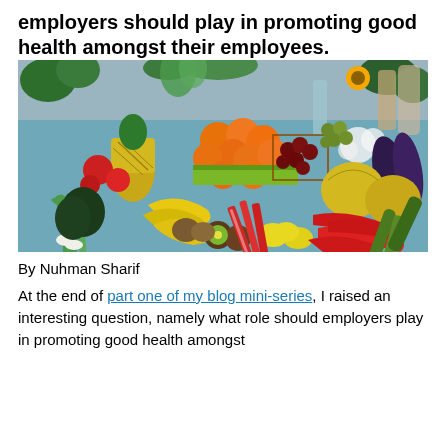employers should play in promoting good health amongst their employees.
[Figure (photo): A large display of assorted fresh fruits and vegetables including oranges, bananas, pineapple, peppers, melons, avocados, leafy greens, and other produce arranged on a blue surface.]
By Nuhman Sharif
At the end of part one of my blog mini-series, I raised an interesting question, namely what role should employers play in promoting good health amongst